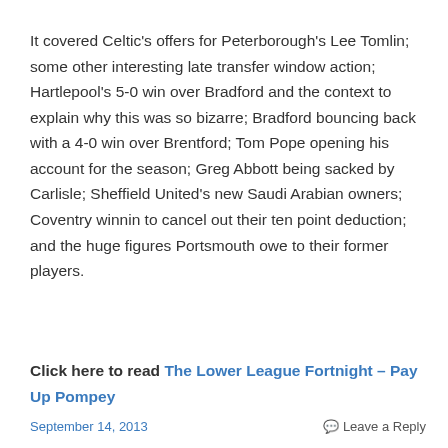It covered Celtic's offers for Peterborough's Lee Tomlin; some other interesting late transfer window action; Hartlepool's 5-0 win over Bradford and the context to explain why this was so bizarre; Bradford bouncing back with a 4-0 win over Brentford; Tom Pope opening his account for the season; Greg Abbott being sacked by Carlisle; Sheffield United's new Saudi Arabian owners; Coventry winnin to cancel out their ten point deduction; and the huge figures Portsmouth owe to their former players.
Click here to read The Lower League Fortnight – Pay Up Pompey
September 14, 2013   Leave a Reply